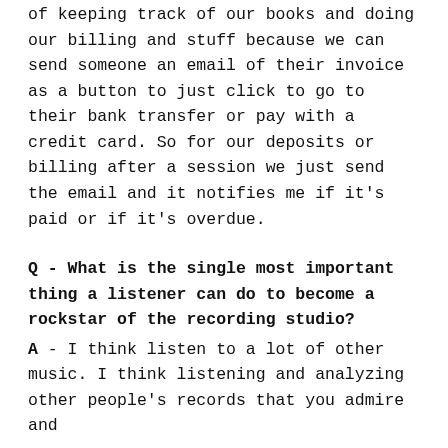of keeping track of our books and doing our billing and stuff because we can send someone an email of their invoice as a button to just click to go to their bank transfer or pay with a credit card. So for our deposits or billing after a session we just send the email and it notifies me if it's paid or if it's overdue.
Q - What is the single most important thing a listener can do to become a rockstar of the recording studio?
A - I think listen to a lot of other music. I think listening and analyzing other people's records that you admire and...